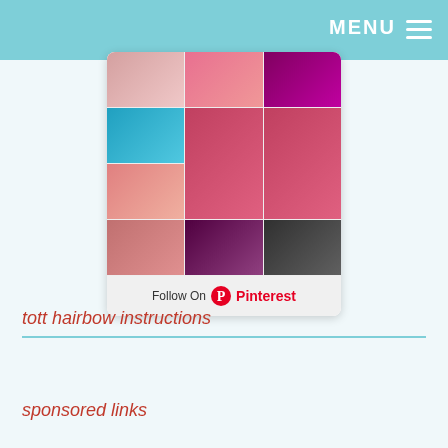MENU
[Figure (screenshot): Pinterest widget showing a collage of hair bow tutorials and instructions, with a 'Follow On Pinterest' button at the bottom.]
tott hairbow instructions
sponsored links